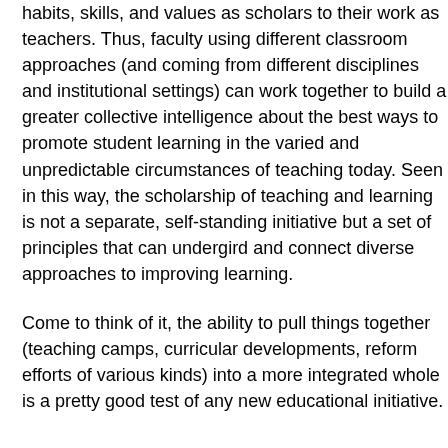habits, skills, and values as scholars to their work as teachers. Thus, faculty using different classroom approaches (and coming from different disciplines and institutional settings) can work together to build a greater collective intelligence about the best ways to promote student learning in the varied and unpredictable circumstances of teaching today. Seen in this way, the scholarship of teaching and learning is not a separate, self-standing initiative but a set of principles that can undergird and connect diverse approaches to improving learning.
Come to think of it, the ability to pull things together (teaching camps, curricular developments, reform efforts of various kinds) into a more integrated whole is a pretty good test of any new educational initiative.